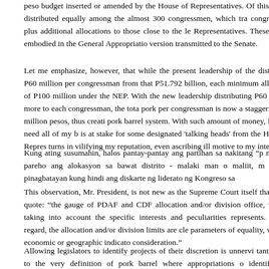peso budget inserted or amended by the House of Representatives. Of this, it was distributed equally among the almost 300 congressmen, which translated to a congressman plus additional allocations to those close to the leadership of the House of Representatives. These are all embodied in the General Appropriations Act version transmitted to the Senate.
Let me emphasize, however, that while the present leadership of the House distributed P60 million per congressman from that P51.792 billion, each had a minimum allocation of P100 million under the NEP. With the new House leadership distributing P60 million more to each congressman, the total pork per congressman is now a staggering 160 million pesos, thus creating the pork barrel system. With such amount of money, I do not need all of my budget. It is at stake for some designated 'talking heads' from the House of Representatives turns in vilifying my reputation, even ascribing ill motive to my intentions.
Kung ating susumahin, halos pantay-pantay ang partihan sa nakitang "pork" na pare-pareho ang alokasyon sa bawat distrito - malaki man o maliit, may walang pinagbatayan kung hindi ang diskarte ng liderato ng Kongreso sa
This observation, Mr. President, is not new as the Supreme Court itself noted that, and I quote: "the gauge of PDAF and CDF allocation and/or division of office, without taking into account the specific interests and peculiarities it represents. In this regard, the allocation and/or division limits are clearly parameters of equality, wherein economic or geographic indicators are given consideration."
Allowing legislators to identify projects of their discretion is unnerving as it is tantamount to the very definition of pork barrel where appropriations are identified by legislators for pet projects that serve the interests of local dis
Going back to this 51,792 billion-peso chunk of the now infamous P75-bi